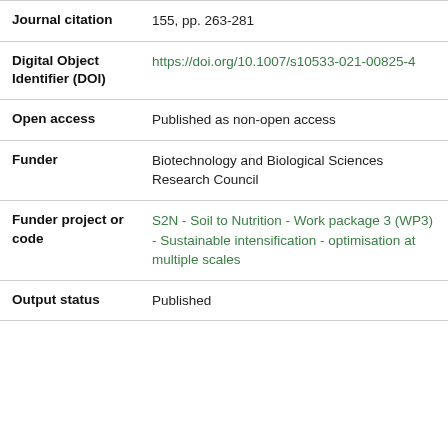| Field | Value |
| --- | --- |
| Journal citation | 155, pp. 263-281 |
| Digital Object Identifier (DOI) | https://doi.org/10.1007/s10533-021-00825-4 |
| Open access | Published as non-open access |
| Funder | Biotechnology and Biological Sciences Research Council |
| Funder project or code | S2N - Soil to Nutrition - Work package 3 (WP3) - Sustainable intensification - optimisation at multiple scales |
| Output status | Published |